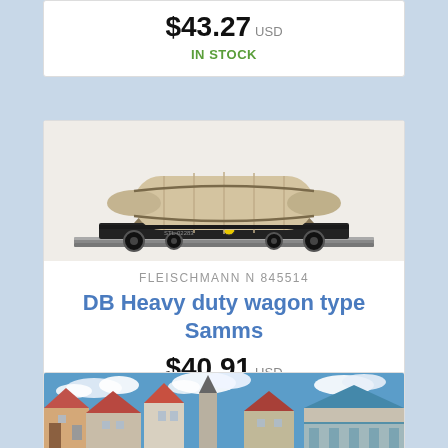$43.27 USD
IN STOCK
[Figure (photo): Model train flatcar with large cylindrical wooden load on black flatbed wagon, on track]
FLEISCHMANN N 845514
DB Heavy duty wagon type Samms
$40.91 USD
IN STOCK
[Figure (photo): Scale model town scene with buildings, red roofs, blue sky with clouds]